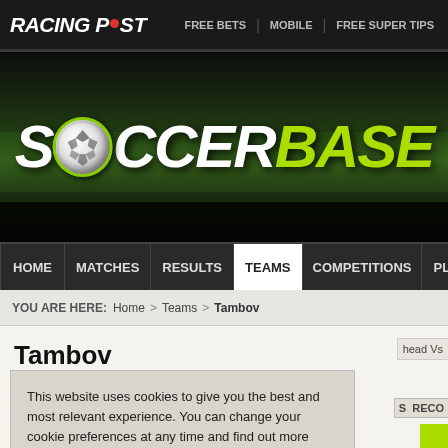RACING POST | FREE BETS | MOBILE | FREE SUPER TIPS
[Figure (logo): Soccerbase logo on dark stadium background with football in the O]
HOME | MATCHES | RESULTS | TEAMS | COMPETITIONS | PLAYERS | N
YOU ARE HERE: Home > Teams > Tambov
Tambov
This website uses cookies to give you the best and most relevant experience. You can change your cookie preferences at any time and find out more about our cookie policy by following this link.

By continuing to use this site you are giving consent to our use of cookies on Racing Post websites in accordance with our cookie policy.
Close